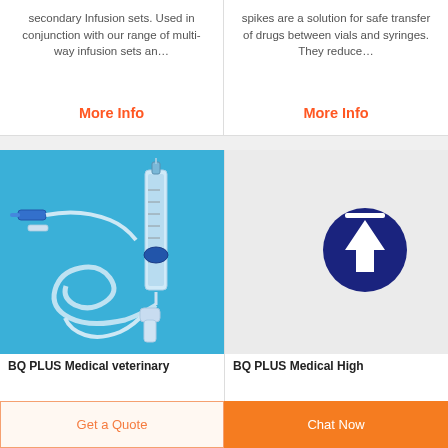secondary Infusion sets. Used in conjunction with our range of multi-way infusion sets an…
More Info
spikes are a solution for safe transfer of drugs between vials and syringes. They reduce…
More Info
[Figure (photo): BQ PLUS Medical veterinary infusion set on blue background showing tubing, drip chamber, and connector]
BQ PLUS Medical veterinary
[Figure (illustration): BQ PLUS Medical High product placeholder with dark blue upload/arrow icon on grey background]
BQ PLUS Medical High
Get a Quote
Chat Now